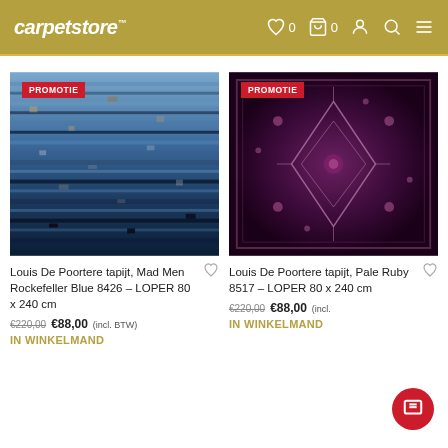carpetstore™  ♡ 0  🛒 0  👤  🔍  ≡
[Figure (photo): Blue abstract modern carpet (Louis De Poortere Mad Men Rockefeller Blue 8426) with PROMOTIE badge]
Louis De Poortere tapijt, Mad Men Rockefeller Blue 8426 – LOPER 80 x 240 cm
€220,00  €88,00 (incl. BTW)
IN WINKELMAND
[Figure (photo): Dark purple/ruby traditional Persian-style carpet (Louis De Poortere Pale Ruby 8517) with PROMOTIE badge]
Louis De Poortere tapijt, Pale Ruby 8517 – LOPER 80 x 240 cm
€220,00  €88,00 (incl.
IN WINKELMAND